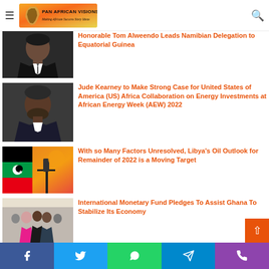Pan African Visions — Making African Success Story Ideas
[Figure (photo): Portrait photo of Honorable Tom Alweendo]
Honorable Tom Alweendo Leads Namibian Delegation to Equatorial Guinea
[Figure (photo): Portrait photo of Jude Kearney]
Jude Kearney to Make Strong Case for United States of America (US) Africa Collaboration on Energy Investments at African Energy Week (AEW) 2022
[Figure (photo): Libya flag and oil pump photo]
With so Many Factors Unresolved, Libya's Oil Outlook for Remainder of 2022 is a Moving Target
[Figure (photo): Group photo at IMF related event]
International Monetary Fund Pledges To Assist Ghana To Stabilize Its Economy
Facebook  Twitter  WhatsApp  Telegram  Phone